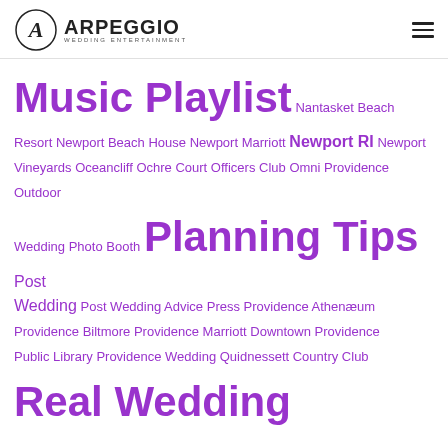Arpeggio Wedding Entertainment
Music Playlist  Nantasket Beach Resort  Newport Beach House  Newport Marriott  Newport RI  Newport Vineyards  Oceancliff  Ochre Court  Officers Club  Omni Providence  Outdoor Wedding  Photo Booth  Planning Tips  Post Wedding  Post Wedding Advice  Press  Providence Athenæum  Providence Biltmore  Providence Marriott Downtown  Providence Public Library  Providence Wedding  Quidnessett Country Club  Real Wedding  Reception Recap  Red Carpet Recap  Regatta Place  Rhodes on the Pawtuxet  Roger Williams Botanical Garden  Salem Cross Inn  Saphire Estate  Shining Tides  Southwick Zoo  Squantum Association  Styled Shoot  Sullivan House  Tennis Hall of Fame  The Landing  The Pavilion at Grace Church  The Towers  Tillinghast Place  Wannamoisett Country Club  Warwick Country Club  Wedding Pro Friends  Wedding Shows  Wedding Trends